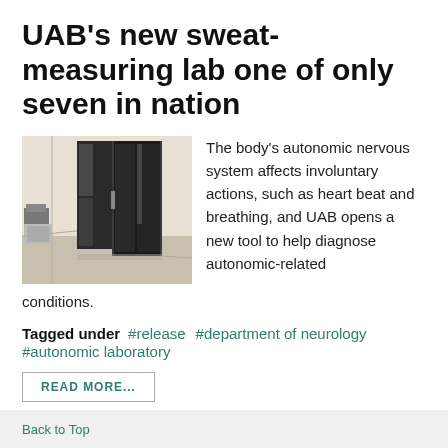UAB's new sweat-measuring lab one of only seven in nation
[Figure (photo): Interior photo of a medical lab room showing a large black chamber with glass doors, medical equipment and chairs visible inside]
The body's autonomic nervous system affects involuntary actions, such as heart beat and breathing, and UAB opens a new tool to help diagnose autonomic-related conditions.
Tagged under  #release  #department of neurology  #autonomic laboratory
READ MORE...
Back to Top